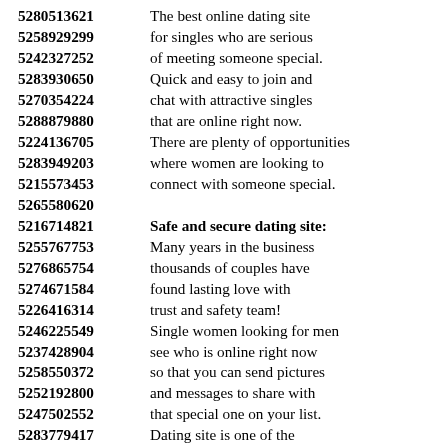5280513621 The best online dating site
5258929299 for singles who are serious
5242327252 of meeting someone special.
5283930650 Quick and easy to join and
5270354224 chat with attractive singles
5288879880 that are online right now.
5224136705 There are plenty of opportunities
5283949203 where women are looking to
5215573453 connect with someone special.
5265580620
5216714821 Safe and secure dating site:
5255767753 Many years in the business
5276865754 thousands of couples have
5274671584 found lasting love with
5226416314 trust and safety team!
5246225549 Single women looking for men
5237428904 see who is online right now
5258550372 so that you can send pictures
5252192800 and messages to share with
5247502552 that special one on your list.
5283779417 Dating site is one of the
5248984389 best ways to find love
5250772918 and interesting person that
5247564687 would be great for a date.
5290117961 An international dating site